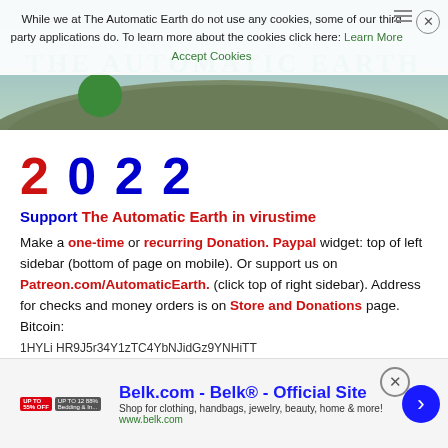[Figure (screenshot): Cookie consent banner overlay with text about The Automatic Earth not using cookies, with Learn More and Accept Cookies links and a close button]
[Figure (photo): The Automatic Earth website header banner showing an aerial landscape photo with THE AUTOMATIC EARTH text in teal/green color]
2022
Support The Automatic Earth in virustime
Make a one-time or recurring Donation. Paypal widget: top of left sidebar (bottom of page on mobile). Or support us on Patreon.com/AutomaticEarth. (click top of right sidebar). Address for checks and money orders is on Store and Donations page. Bitcoin:
[Figure (screenshot): Belk.com advertisement banner: Belk® - Official Site, Shop for clothing, handbags, jewelry, beauty, home & more! www.belk.com]